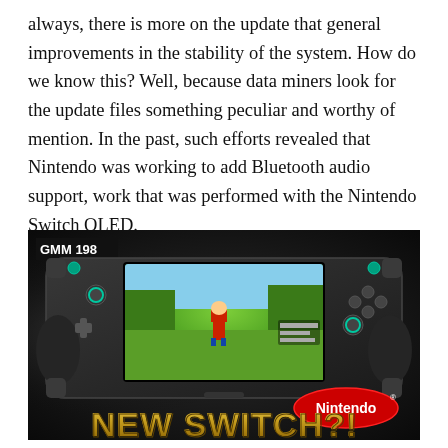always, there is more on the update that general improvements in the stability of the system. How do we know this? Well, because data miners look for the update files something peculiar and worthy of mention. In the past, such efforts revealed that Nintendo was working to add Bluetooth audio support, work that was performed with the Nintendo Switch OLED.
[Figure (photo): Photo of a handheld gaming device resembling a Nintendo Switch with dark casing and teal accents, showing a game on screen. Labeled 'GMM 198' in the top left. Bottom right shows the Nintendo logo in a red oval. Large text at the bottom reads 'NEW SWITCH?!' in gold/metallic lettering.]